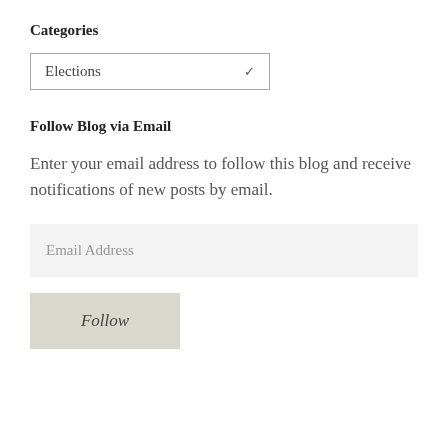Categories
[Figure (screenshot): A dropdown selector showing 'Elections' with a chevron arrow on the right, styled with a border.]
Follow Blog via Email
Enter your email address to follow this blog and receive notifications of new posts by email.
[Figure (screenshot): An email address input field with placeholder text 'Email Address' on a light gray background.]
[Figure (screenshot): A button labeled 'Follow' in italic, with a gray-green background.]